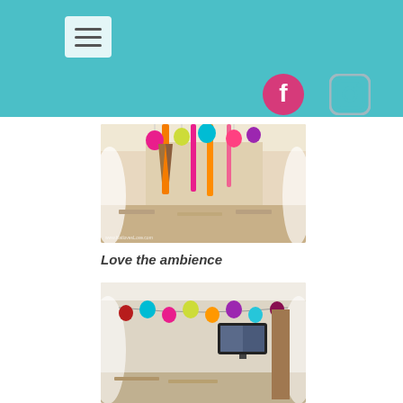Navigation header with menu button and social media icons (Facebook, Instagram)
[Figure (photo): Interior of a restaurant/cafe decorated with colorful hanging paper lanterns and ribbons in pink, orange, teal and other colors. White walls, seating visible. Watermark text www.KatlovesLove.com at bottom left.]
Love the ambience
[Figure (photo): Interior of same cafe/restaurant with colorful paper lantern ball decorations hanging from ceiling in a garland arrangement. TV screen visible on the wall. Seating area with tables.]